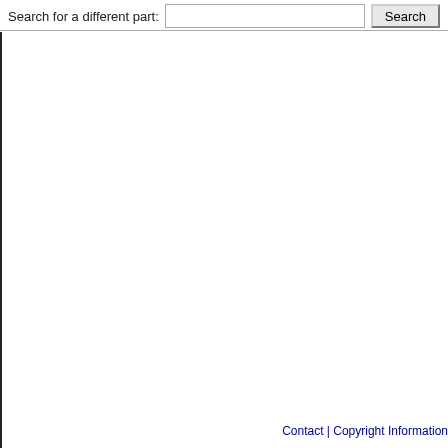Search for a different part:
Contact | Copyright Information